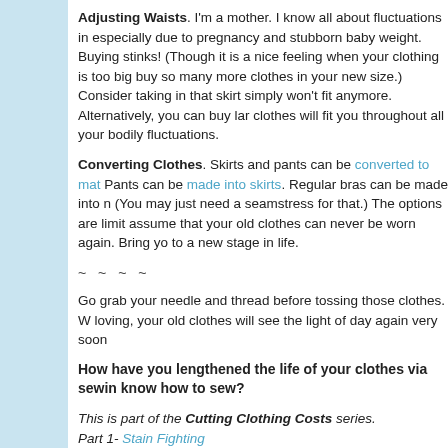Adjusting Waists. I'm a mother. I know all about fluctuations in especially due to pregnancy and stubborn baby weight. Buying stinks! (Though it is a nice feeling when your clothing is too big buy so many more clothes in your new size.) Consider taking in that skirt simply won't fit anymore. Alternatively, you can buy la clothes will fit you throughout all your bodily fluctuations.
Converting Clothes. Skirts and pants can be converted to mat Pants can be made into skirts. Regular bras can be made into n (You may just need a seamstress for that.) The options are limit assume that your old clothes can never be worn again. Bring yo to a new stage in life.
~ ~ ~ ~
Go grab your needle and thread before tossing those clothes. W loving, your old clothes will see the light of day again very soon
How have you lengthened the life of your clothes via sewin know how to sew?
This is part of the Cutting Clothing Costs series.
Part 1- Stain Fighting
Part 2- Launder Correctly to Save Your Wardrobe